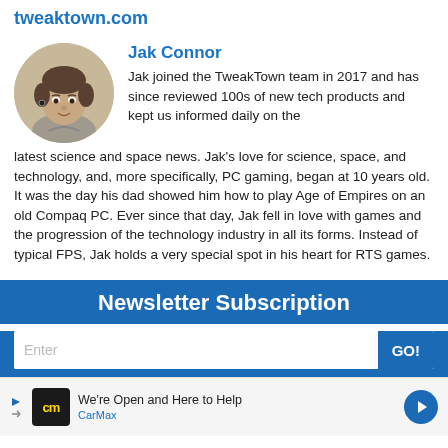tweaktown.com
Jak Connor
Jak joined the TweakTown team in 2017 and has since reviewed 100s of new tech products and kept us informed daily on the latest science and space news. Jak's love for science, space, and technology, and, more specifically, PC gaming, began at 10 years old. It was the day his dad showed him how to play Age of Empires on an old Compaq PC. Ever since that day, Jak fell in love with games and the progression of the technology industry in all its forms. Instead of typical FPS, Jak holds a very special spot in his heart for RTS games.
Newsletter Subscription
We're Open and Here to Help CarMax